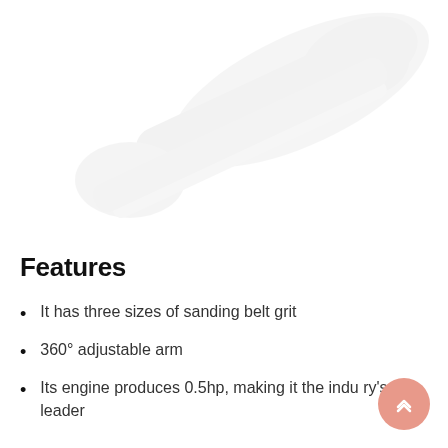[Figure (photo): Faded/ghosted product image of a belt sander shown at an angle on a white background, very light pink/grey tones]
Features
It has three sizes of sanding belt grit
360° adjustable arm
Its engine produces 0.5hp, making it the industry's leader